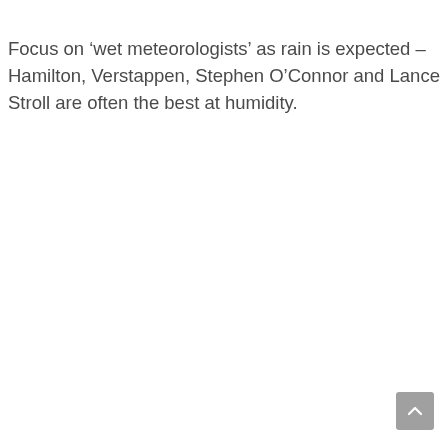Focus on ‘wet meteorologists’ as rain is expected – Hamilton, Verstappen, Stephen O’Connor and Lance Stroll are often the best at humidity.